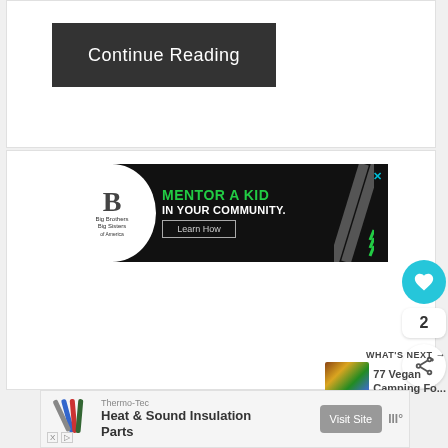Continue Reading
[Figure (infographic): Big Brothers Big Sisters advertisement: MENTOR A KID IN YOUR COMMUNITY. Learn How button. Black background with green text and diagonal stripe design.]
[Figure (infographic): Heart/like button (teal circle with heart icon), count of 2, and share button (white circle with share icon)]
WHAT'S NEXT → 77 Vegan Camping Fo...
[Figure (infographic): Bottom advertisement: Thermo-Tec Heat & Sound Insulation Parts with Visit Site button and pencil/tool icon graphic]